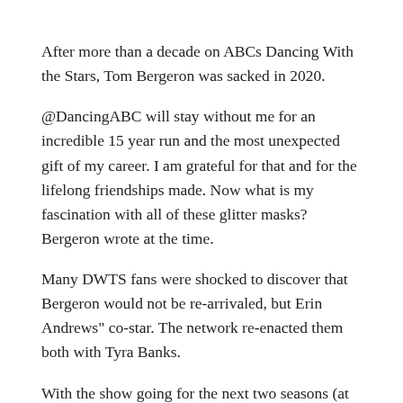After more than a decade on ABCs Dancing With the Stars, Tom Bergeron was sacked in 2020.
@DancingABC will stay without me for an incredible 15 year run and the most unexpected gift of my career. I am grateful for that and for the lifelong friendships made. Now what is my fascination with all of these glitter masks? Bergeron wrote at the time.
Many DWTS fans were shocked to discover that Bergeron would not be re-arrivaled, but Erin Andrews" co-star. The network re-enacted them both with Tyra Banks.
With the show going for the next two seasons (at least) some people are wondering if Bergeron might be brought back or if he'd come with someone. Bergeron sometimes is wide